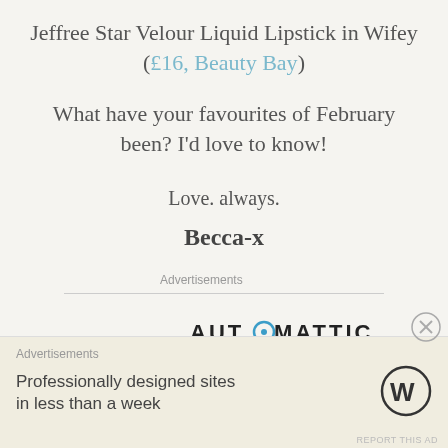Jeffree Star Velour Liquid Lipstick in Wifey (£16, Beauty Bay)
What have your favourites of February been? I'd love to know!
Love. always.
Becca-x
Advertisements
[Figure (logo): Automattic logo in dark text with a blue circle 'O']
Advertisements
Professionally designed sites in less than a week
[Figure (logo): WordPress circular logo in dark grey]